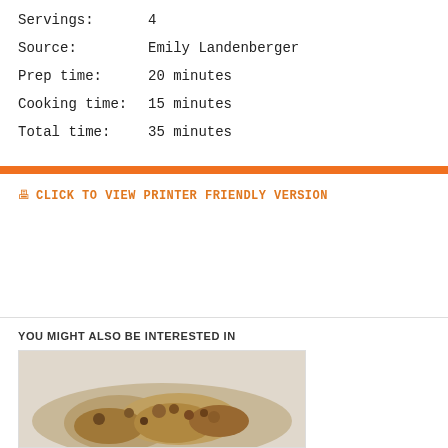Servings: 4
Source: Emily Landenberger
Prep time: 20 minutes
Cooking time: 15 minutes
Total time: 35 minutes
🖶 CLICK TO VIEW PRINTER FRIENDLY VERSION
YOU MIGHT ALSO BE INTERESTED IN
[Figure (photo): Photo of granola or baked goods on a light background]